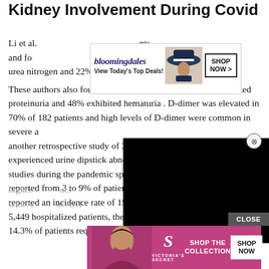Kidney Involvement During Covid
Li et al. [patients] and found [increased] blood urea nitrogen and 22% had increased serum creatinine. These authors also found also that in 147 patients, 60% exhibited proteinuria and 48% exhibited hematuria . D-dimer was elevated in 70% of 182 patients and high levels of D-dimer were common in severe a[nd] another retrospective study of 3[...] experienced urine dipstick abno[rmalities] studies during the pandemic spr[ead] reported from 3 to 9% of patient[s] reported an incidence rate of 15% . In one observational study of 5,449 hospitalized patients, the incidence of AKI was 36.6 with 14.3% of patients requiring dialysis an[d] even higher [in patients] with A[KI...] AKI
[Figure (other): Bloomingdale's advertisement banner with woman in hat, 'View Today's Top Deals!' tagline and 'SHOP NOW >' button]
[Figure (other): Black video player overlay covering part of the article text, with circular close (X) button]
[Figure (other): Victoria's Secret advertisement banner with 'SHOP THE COLLECTION' text and 'SHOP NOW' button on pink background, with woman photo on left]